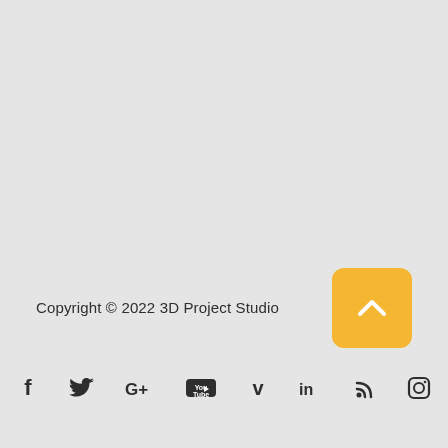Copyright © 2022 3D Project Studio
[Figure (illustration): Orange/yellow rounded square button with a white upward chevron arrow (scroll-to-top button)]
[Figure (illustration): Social media icons row: Facebook (f), Twitter (bird), Google+ (G+), YouTube, Vimeo (V), LinkedIn (in), RSS feed, Instagram]